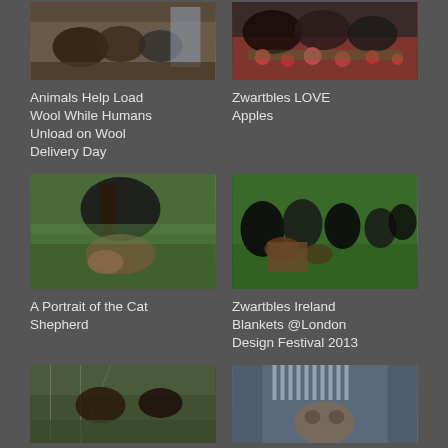[Figure (photo): Dark sheep/Zwartbles at a wool feeder/station indoors]
[Figure (photo): Zwartbles dark sheep eating red apples from a container]
Animals Help Load Wool While Humans Unload on Wool Delivery Day
Zwartbles LOVE Apples
[Figure (photo): A large dark cat (cat shepherd) lying on grass near a tree, with a tabby cat below]
[Figure (photo): Flock of Zwartbles black sheep on green grass with a basket of items]
A Portrait of the Cat Shepherd
Zwartbles Ireland Blankets @London Design Festival 2013
[Figure (photo): Cat and dark animal looking through wire fence in garden]
[Figure (photo): Close-up of a small furry animal (possibly ferret or mink) in a cage]